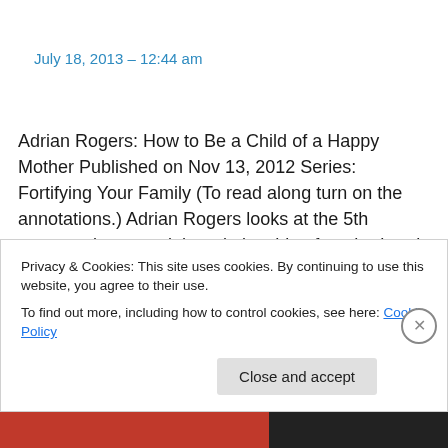July 18, 2013 – 12:44 am
Adrian Rogers: How to Be a Child of a Happy Mother Published on Nov 13, 2012 Series: Fortifying Your Family (To read along turn on the annotations.) Adrian Rogers looks at the 5th commandment and the relationship of motherhood in the commandment to honor your father and
Privacy & Cookies: This site uses cookies. By continuing to use this website, you agree to their use.
To find out more, including how to control cookies, see here: Cookie Policy
Close and accept